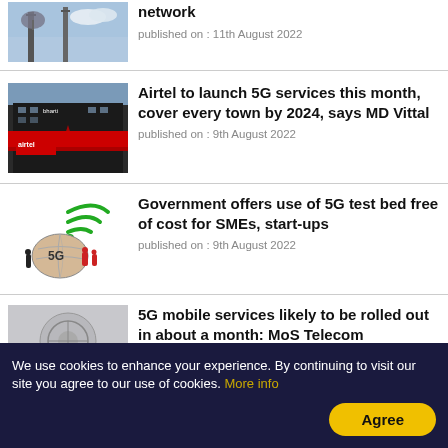[Figure (photo): Satellite/telecom tower image, partially visible at top]
network
published on : 11th August 2022
[Figure (photo): Bharti Airtel building with red logo signage]
Airtel to launch 5G services this month, cover every town by 2024, says MD Vittal
published on : 9th August 2022
[Figure (illustration): 5G globe illustration with wifi signal and people silhouettes]
Government offers use of 5G test bed free of cost for SMEs, start-ups
published on : 9th August 2022
[Figure (photo): Government emblem/crest image, partially visible]
5G mobile services likely to be rolled out in about a month: MoS Telecom
We use cookies to enhance your experience. By continuing to visit our site you agree to our use of cookies. More info